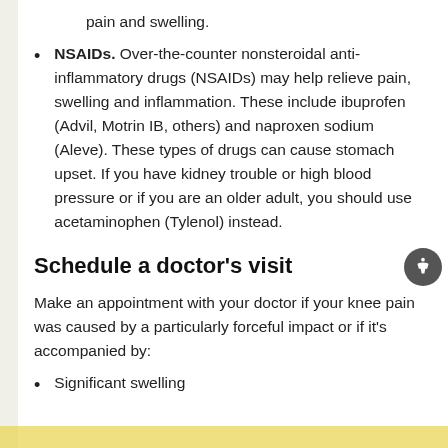pain and swelling.
NSAIDs. Over-the-counter nonsteroidal anti-inflammatory drugs (NSAIDs) may help relieve pain, swelling and inflammation. These include ibuprofen (Advil, Motrin IB, others) and naproxen sodium (Aleve). These types of drugs can cause stomach upset. If you have kidney trouble or high blood pressure or if you are an older adult, you should use acetaminophen (Tylenol) instead.
Schedule a doctor's visit
Make an appointment with your doctor if your knee pain was caused by a particularly forceful impact or if it's accompanied by:
Significant swelling